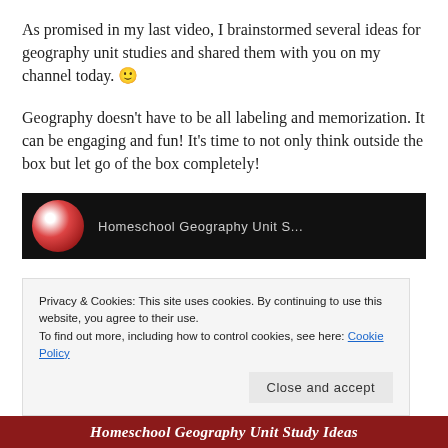As promised in my last video, I brainstormed several ideas for geography unit studies and shared them with you on my channel today. 🙂
Geography doesn't have to be all labeling and memorization. It can be engaging and fun! It's time to not only think outside the box but let go of the box completely!
[Figure (screenshot): Dark thumbnail of a YouTube video showing a circular avatar with a red/pink ornament image and partial text 'Homeschool Geography Unit S...' in gray text on dark background]
Privacy & Cookies: This site uses cookies. By continuing to use this website, you agree to their use.
To find out more, including how to control cookies, see here: Cookie Policy
Close and accept
Homeschool Geography Unit Study Ideas